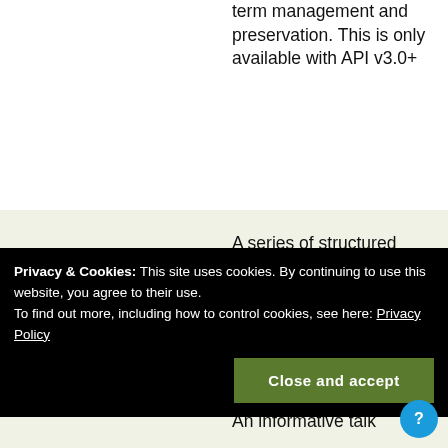term management and preservation. This is only available with API v3.0+
| Term | Definition |
| --- | --- |
| data-set | A series of structured observations, measurements or facts identified from the research which can be stored in a |
|  | An informative talk |
Privacy & Cookies: This site uses cookies. By continuing to use this website, you agree to their use. To find out more, including how to control cookies, see here: Privacy Policy